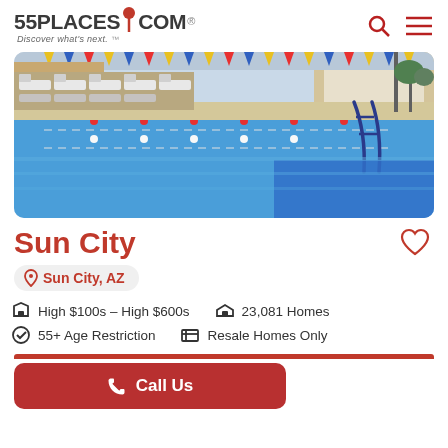55PLACES.COM - Discover what's next.
[Figure (photo): Outdoor swimming pool with lounge chairs, lane lines, and colorful pennant flags in a sunny Arizona community]
Sun City
Sun City, AZ
High $100s - High $600s   23,081 Homes
55+ Age Restriction   Resale Homes Only
Call Us